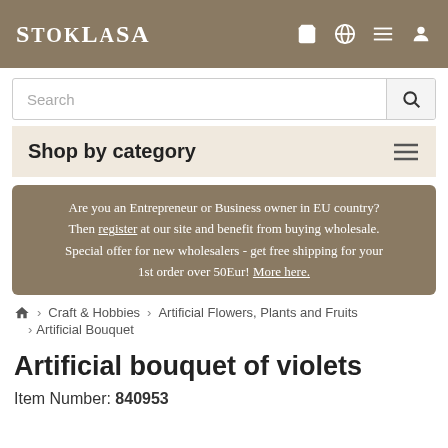STOKLASA
Search
Shop by category
Are you an Entrepreneur or Business owner in EU country? Then register at our site and benefit from buying wholesale. Special offer for new wholesalers - get free shipping for your 1st order over 50Eur! More here.
Home > Craft & Hobbies > Artificial Flowers, Plants and Fruits > Artificial Bouquet
Artificial bouquet of violets
Item Number: 840953